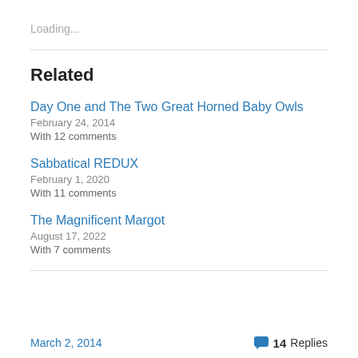Loading...
Related
Day One and The Two Great Horned Baby Owls
February 24, 2014
With 12 comments
Sabbatical REDUX
February 1, 2020
With 11 comments
The Magnificent Margot
August 17, 2022
With 7 comments
March 2, 2014   14 Replies